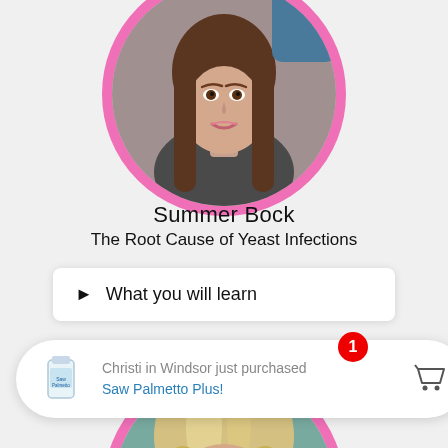[Figure (photo): Circular profile photo of Summer Bock with pink border, showing a woman with brown hair]
Summer Bock
The Root Cause of Yeast Infections
▶ What you will learn
[Figure (photo): Circular profile photo of another speaker with pink border, showing a woman with blonde hair]
Christi in Windsor just purchased Saw Palmetto Plus!